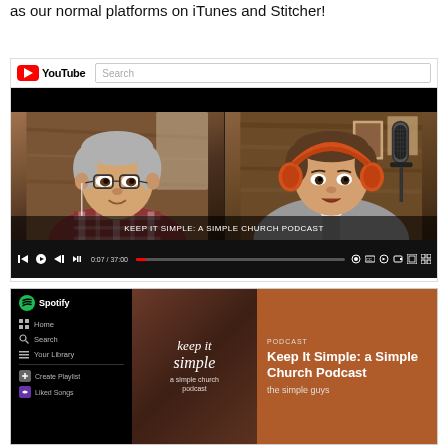as our normal platforms on iTunes and Stitcher!
[Figure (screenshot): YouTube interface showing a video player with two men in a split-screen podcast recording. The video title reads 'KEEP IT SIMPLE: A SIMPLE CHURCH PODCAST'. Player controls show timestamp 0:07 / 37:00. YouTube logo and search bar visible at top.]
[Figure (screenshot): Spotify interface showing the podcast 'Keep It Simple: a Simple Church Podcast' by 'the simple guys'. Spotify sidebar with navigation items visible on the left. Album art shows stylized text 'keep it simple a simple church podcast' on dark brown background.]